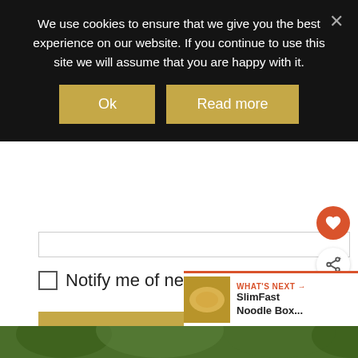We use cookies to ensure that we give you the best experience on our website. If you continue to use this site we will assume that you are happy with it.
Ok
Read more
Notify me of new posts by email.
Post Comment
[Figure (infographic): Heart/favourite button (orange circle with heart icon)]
[Figure (infographic): Share button (white circle with share icon)]
WHAT'S NEXT → SlimFast Noodle Box...
[Figure (photo): Green trees/foliage footer image strip]